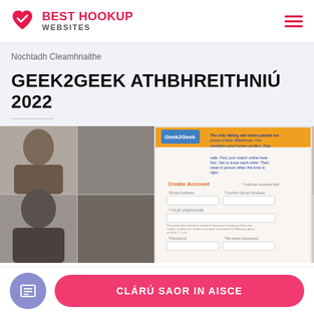BEST HOOKUP WEBSITES
Nochtadh Cleamhnaithe
GEEK2GEEK ATHBHREITHNIÚ 2022
[Figure (screenshot): Screenshot of Geek2Geek dating website showing a Create Account form with fields for email address, confirm email, username, password, and re-enter password, overlaid on a collage of diverse people's portraits.]
CLÁRÚ SAOR IN AISCE